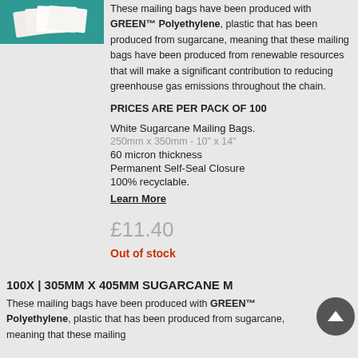[Figure (photo): Product photo of white mailing bags stacked on a teal/green background]
These mailing bags have been produced with GREEN™ Polyethylene, plastic that has been produced from sugarcane, meaning that these mailing bags have been produced from renewable resources that will make a significant contribution to reducing greenhouse gas emissions throughout the chain.
PRICES ARE PER PACK OF 100
White Sugarcane Mailing Bags.
250mm x 350mm - 10" x 14"
60 micron thickness
Permanent Self-Seal Closure
100% recyclable.
Learn More
£11.40
Out of stock
100X | 305MM X 405MM SUGARCANE M
These mailing bags have been produced with GREEN™ Polyethylene, plastic that has been produced from sugarcane, meaning that these mailing